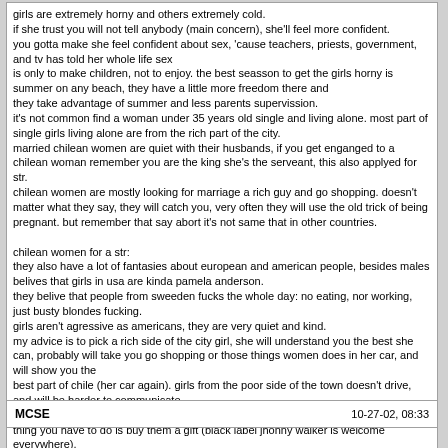girls are extremely horny and others extremely cold.
if she trust you will not tell anybody (main concern), she'll feel more confident.
you gotta make she feel confident about sex, 'cause teachers, priests, government, and tv has told her whole life sex
is only to make children, not to enjoy. the best seasson to get the girls horny is summer on any beach, they have a little more freedom there and
they take advantage of summer and less parents supervission.
it's not common find a woman under 35 years old single and living alone. most part of single girls living alone are from the rich part of the city.
married chilean women are quiet with their husbands, if you get enganged to a chilean woman remember you are the king she's the serveant, this also applyed for str.
chilean women are mostly looking for marriage a rich guy and go shopping. doesn't matter what they say, they will catch you, very often they will use the old trick of being pregnant. but remember that say abort it's not same that in other countries.

chilean women for a str:
they also have a lot of fantasies about european and american people, besides males belives that girls in usa are kinda pamela anderson.
they belive that people from sweeden fucks the whole day: no eating, nor working, just busty blondes fucking.
girls aren't agressive as americans, they are very quiet and kind.
my advice is to pick a rich side of the city girl, she will understand you the best she can, probably will take you go shopping or those things women does in her car, and will show you the
best part of chile (her car again). girls from the poor side of the town doesn't drive, and will be harder to communicate.
the rich girl will introduce you her parents and invite you her home for dinner, only thing you have to do is buy them a gift (black label jhonny walker is welcome everywhere).
if you are dating a rich girl never buy an expensive gift, especially jewelery for she before one month, it's doesn't matter if you had sex or not. may be dissapointed by her parents.
MCSE    10-27-02, 08:33